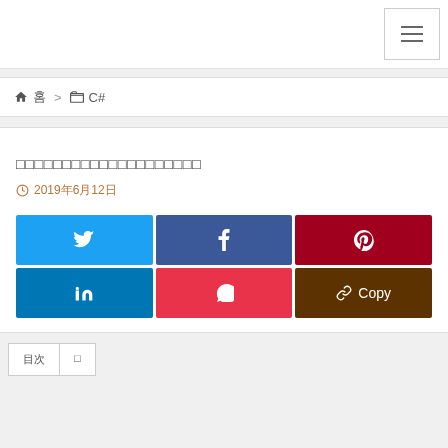≡ (hamburger menu button)
🏠 홈 > □ C#
□□□□□□□□□□□□□□□□□□□
🕐 2019年6月12日
[Figure (infographic): Social share buttons: Twitter (blue), Facebook (dark blue), Pinterest (dark red), LinkedIn (blue), Pocket (pink-red), Copy (dark brown)]
[Figure (infographic): Two tab buttons at bottom left of page]